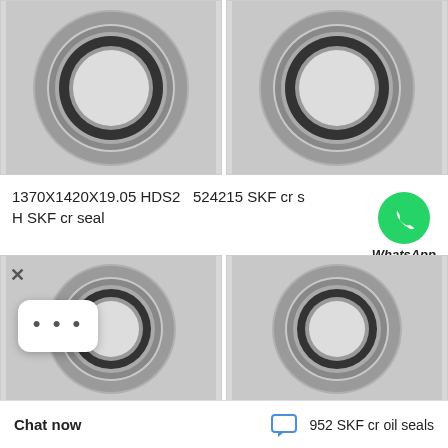[Figure (photo): Two photographs of circular oil seals (ring gaskets) side by side - top row. Left seal shows front face with black inner lip seal and gray metal housing. Right seal shows similar front face view.]
1370X1420X19.05 HDS2 H SKF cr seal    524215 SKF cr s
[Figure (photo): WhatsApp Online contact button with green WhatsApp phone icon and italic 'WhatsApp Online' label]
[Figure (photo): Two photographs of circular oil seals side by side - bottom row. Left seal shows front face with black inner lip seal and gray metal housing. Right seal shows similar view from slightly different angle.]
× (close button)
[Figure (other): More options bubble with three dots]
Chat now    952 SKF cr oil seals